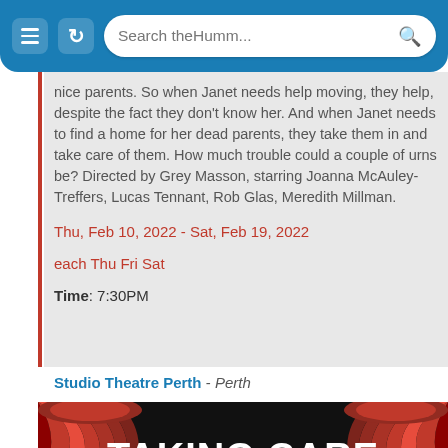Search theHumm...
nice parents. So when Janet needs help moving, they help, despite the fact they don't know her. And when Janet needs to find a home for her dead parents, they take them in and take care of them. How much trouble could a couple of urns be? Directed by Grey Masson, starring Joanna McAuley-Treffers, Lucas Tennant, Rob Glas, Meredith Millman.
Thu, Feb 10, 2022 - Sat, Feb 19, 2022
each Thu Fri Sat
Time: 7:30PM
Studio Theatre Perth - Perth
[Figure (photo): Theatrical poster for 'Taking Care of the Browns' by Studio Theatre Productions. Black background with red curtains on either side. White bold text reads 'TAKING CARE OF THE BROWNS' with 'STUDIO THEATRE PRODUCTIONS PRESENTS' arched at the top and 'BY PETER BAYLOR' partially visible at the bottom.]